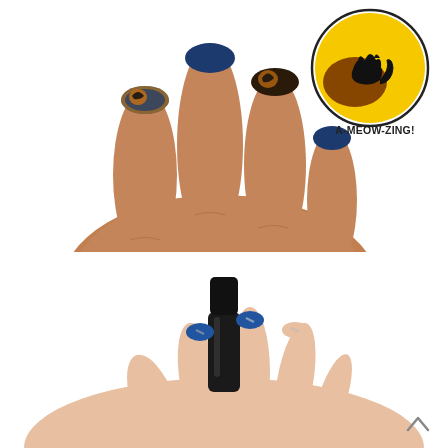[Figure (photo): Close-up photo of a dark-skinned hand with decorated Halloween nail art — navy blue base with black cat silhouette on yellow/orange moon on accent nail, displayed against white background. In the upper right corner, a circular inset shows a close-up of the cat nail art design.]
A-MEOW-ZING!
STEP 5:
With a clean striping brush, dab Katrina on for the eyes.
[Figure (photo): Bottom photo of a light-skinned hand holding a black nail polish bottle, with nails painted in blue and silver/striped design, on a white background.]
[Figure (other): Upward-pointing chevron/arrow navigation icon in the bottom right corner.]